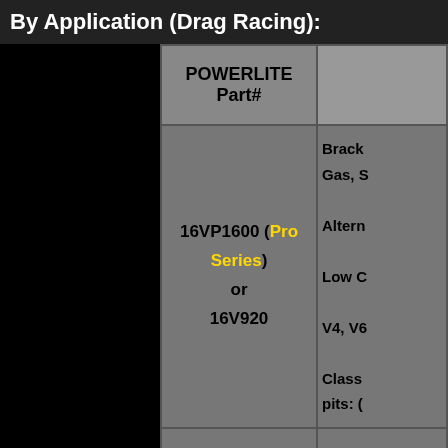By Application (Drag Racing):
| POWERLITE Part# |  |
| --- | --- |
| 16VP1600 (Pro Series) or 16V920 | Brack Gas, S Altern Low C V4, V6 Class pits: ( |
| 16VP2000 (Pro Series) or 16V1200 40% more power | Stock Street Top S Stock With c |